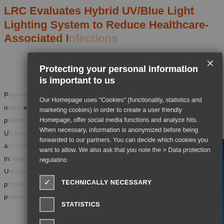LRC Evaluates Hybrid UV/Blue Light Lighting System to Reduce Healthcare-Associated Infections
Prevention, diagnosis, and treatment, nearly 1 in 25 patients develop healthcare-associated infections (HAIs) in U.S. hospitals according to the Centers for Disease Control and Prevention (CDC). HAI prevention procedures usually include routine cleaning and disinfecting using disinfectants. Unfortunately, lack of consistent cleaning procedures means less than 50% of patient surfaces are disinfected properly.
[Figure (screenshot): Cookie consent modal overlay on a webpage. Modal has dark grey background with title 'Protecting your personal information is important to us', explanatory text about cookies, and checkboxes for TECHNICALLY NECESSARY (checked), STATISTICS (unchecked), MARKETING (unchecked), and a partially visible fourth option.]
[Figure (photo): Photograph of a blue UV/blue light lighting panel installed in a ceiling, glowing bright blue against a dark background.]